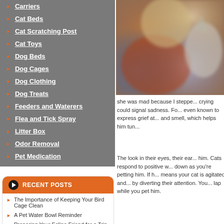Carriers
Cat Beds
Cat Scratching Post
Cat Toys
Dog Beds
Dog Cages
Dog Clothing
Dog Treats
Feeders and Waterers
Flea and Tick Spray
Litter Box
Odor Removal
Pet Medication
RECENT POSTS
The Importance of Keeping Your Bird Cage Clean
A Pet Water Bowl Reminder
Preparing Your Feline Friend for a Trip
Can Gerbils and Hamsters Live Under The Same Roof As a Cat?
The Best Flea Self Cleaning...
[Figure (photo): Blurred photo of a woman holding a cat on a couch]
she was mad because I steppe... crying could signal sadness. Fo... even known to express grief at... and smell, which helps him tun...
The look in their eyes, their ear... him. Cats respond to positive w... down as you're petting him. If h... means your cat is agitated and... by diverting their attention. You... lap while you pet him.